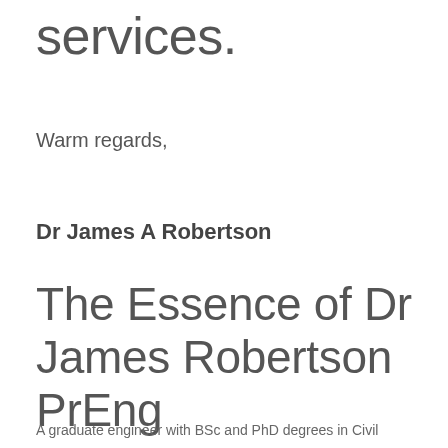services.
Warm regards,
Dr James A Robertson
The Essence of Dr James Robertson PrEng
A graduate engineer with BSc and PhD degrees in Civil